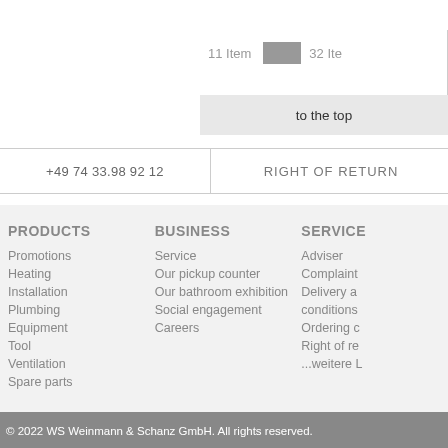11 Item
32 Ite
to the top
+49 74 33.98 92 12
RIGHT OF RETURN
PRODUCTS
Promotions
Heating
Installation
Plumbing
Equipment
Tool
Ventilation
Spare parts
BUSINESS
Service
Our pickup counter
Our bathroom exhibition
Social engagement
Careers
SERVICE
Adviser
Complaint
Delivery a conditions
Ordering c
Right of re
...weitere L
© 2022 WS Weinmann & Schanz GmbH. All rights reserved.